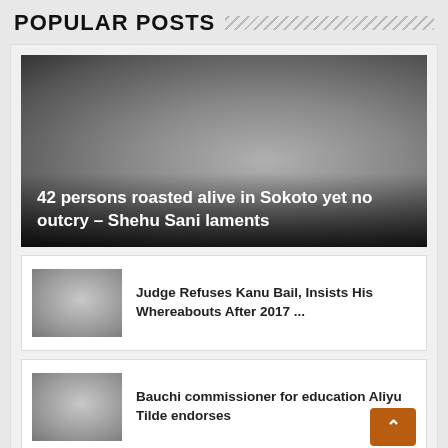POPULAR POSTS
[Figure (photo): Grayscale gradient placeholder image for article: 42 persons roasted alive in Sokoto yet no outcry – Shehu Sani laments]
42 persons roasted alive in Sokoto yet no outcry – Shehu Sani laments
[Figure (photo): Grayscale gradient placeholder image for article: Judge Refuses Kanu Bail, Insists His Whereabouts After 2017 ...]
Judge Refuses Kanu Bail, Insists His Whereabouts After 2017 ...
[Figure (photo): Grayscale gradient placeholder image for article: Bauchi commissioner for education Aliyu Tilde endorses]
Bauchi commissioner for education Aliyu Tilde endorses